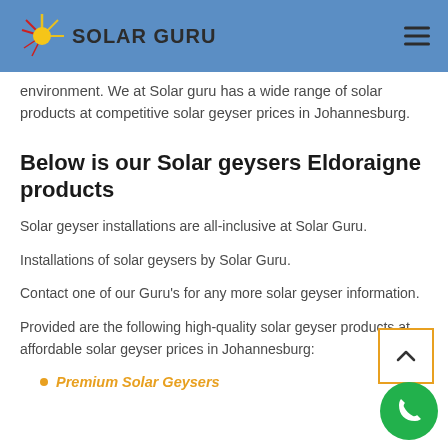Solar Guru logo and navigation
environment. We at Solar guru has a wide range of solar products at competitive solar geyser prices in Johannesburg.
Below is our Solar geysers Eldoraigne products
Solar geyser installations are all-inclusive at Solar Guru.
Installations of solar geysers by Solar Guru.
Contact one of our Guru's for any more solar geyser information.
Provided are the following high-quality solar geyser products at affordable solar geyser prices in Johannesburg:
Premium Solar Geysers